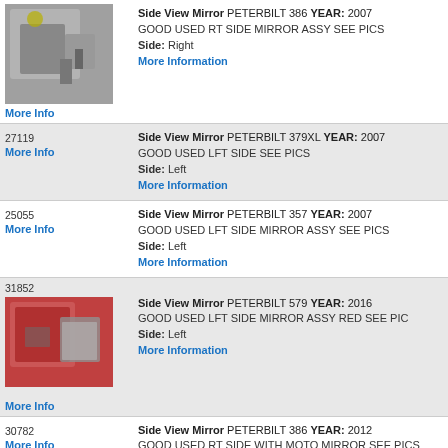[Figure (photo): Photo of a silver truck side view mirror assembly]
Side View Mirror PETERBILT 386 YEAR: 2007 GOOD USED RT SIDE MIRROR ASSY SEE PICS Side: Right More Information
More Info
27119 More Info
Side View Mirror PETERBILT 379XL YEAR: 2007 GOOD USED LFT SIDE SEE PICS Side: Left More Information
25055 More Info
Side View Mirror PETERBILT 357 YEAR: 2007 GOOD USED LFT SIDE MIRROR ASSY SEE PICS Side: Left More Information
31852
[Figure (photo): Photo of a red truck side view mirror assembly]
Side View Mirror PETERBILT 579 YEAR: 2016 GOOD USED LFT SIDE MIRROR ASSY RED SEE PIC Side: Left More Information
More Info
30782 More Info
Side View Mirror PETERBILT 386 YEAR: 2012 GOOD USED RT SIDE WITH MOTO MIRROR SEE PICS Side: Right More Information
31824 More Info
Side View Mirror PETERBILT 386 YEAR: 2013 GOOD USED RT SIDE MIRROR ASSY CHROME SEE PIC Side: Right More Information